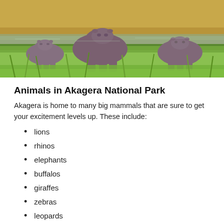[Figure (photo): Three hippos standing in or near water with green grass and golden-lit landscape in background.]
Animals in Akagera National Park
Akagera is home to many big mammals that are sure to get your excitement levels up. These include:
lions
rhinos
elephants
buffalos
giraffes
zebras
leopards